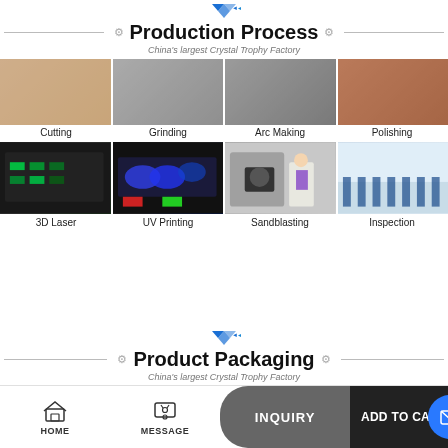[Figure (logo): Blue angular logo icon]
Production Process
China's largest Crystal Trophy Factory
[Figure (photo): Grid of 4 production process photos: Cutting, Grinding, Arc Making, Polishing]
Cutting    Grinding    Arc Making    Polishing
[Figure (photo): Grid of 4 production process photos: 3D Laser, UV Printing, Sandblasting, Inspection]
3D Laser    UV Printing    Sandblasting    Inspection
[Figure (logo): Blue angular logo icon]
Product Packaging
China's largest Crystal Trophy Factory
[Figure (photo): 4 circular product packaging photos showing blue, black, blue, and orange-interior boxes]
[Figure (infographic): Bottom navigation bar with HOME and MESSAGE icons, INQUIRY button, ADD TO CART button, and email icon]